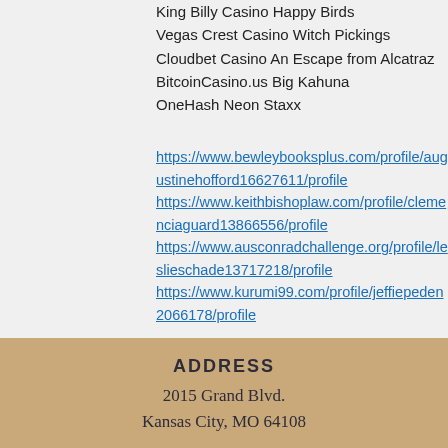King Billy Casino Happy Birds
Vegas Crest Casino Witch Pickings
Cloudbet Casino An Escape from Alcatraz
BitcoinCasino.us Big Kahuna
OneHash Neon Staxx
https://www.bewleybooksplus.com/profile/augustinehofford16627611/profile https://www.keithbishoplaw.com/profile/clemenciaguard13866556/profile https://www.ausconradchallenge.org/profile/leslieschade13717218/profile https://www.kurumi99.com/profile/jeffiepeden2066178/profile
ADDRESS
2015 Grand Blvd.
Kansas City, MO 64108
2020 by PK Law Group